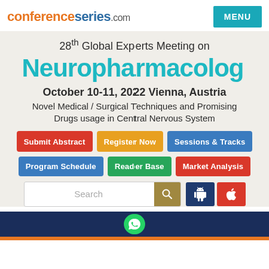conferenceseries.com | MENU
28th Global Experts Meeting on Neuropharmacology
October 10-11, 2022 Vienna, Austria
Novel Medical / Surgical Techniques and Promising Drugs usage in Central Nervous System
Submit Abstract
Register Now
Sessions & Tracks
Program Schedule
Reader Base
Market Analysis
[Figure (screenshot): Search bar with search icon button, Android and Apple app icon buttons]
WhatsApp contact icon on dark blue footer bar